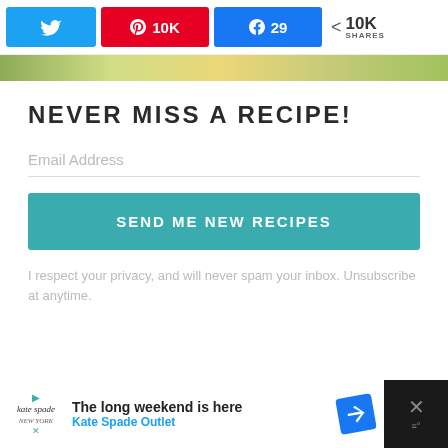[Figure (screenshot): Social share bar with Twitter, Pinterest (10K), Facebook (29) buttons and 10K SHARES count]
[Figure (photo): Partial cropped food photo strip at top of content area]
NEVER MISS A RECIPE!
Email Address
SEND ME NEW RECIPES
I respect your privacy, and will never spam your inbox. Unsubscribe at anytime.
[Figure (screenshot): Advertisement bar at bottom: Kate Spade Outlet - The long weekend is here]